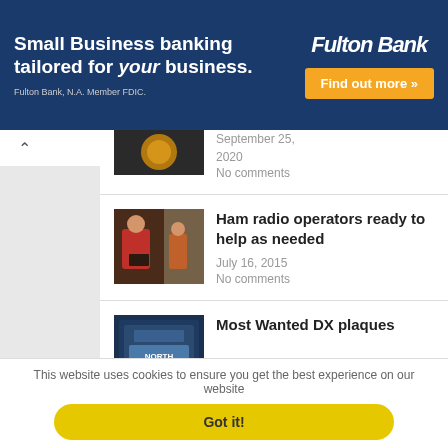[Figure (infographic): Fulton Bank advertisement banner: 'Small Business banking tailored for your business.' with 'Find out more' button]
September 25, 2020
No comments
Ham radio operators ready to help as needed
July 16, 2015
No comments
Most Wanted DX plaques
This website uses cookies to ensure you get the best experience on our website
Got it!